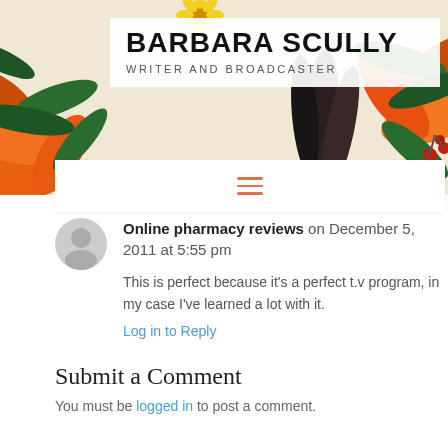[Figure (illustration): Floral banner header with orange lilies, yellow daisies, green leaves, red berries, and dark feathers on a light background. Contains a white box with site title 'BARBARA SCULLY' and subtitle 'WRITER AND BROADCASTER'.]
BARBARA SCULLY
WRITER AND BROADCASTER
Online pharmacy reviews on December 5, 2011 at 5:55 pm
This is perfect because it's a perfect t.v program, in my case I've learned a lot with it.
Log in to Reply
Submit a Comment
You must be logged in to post a comment.